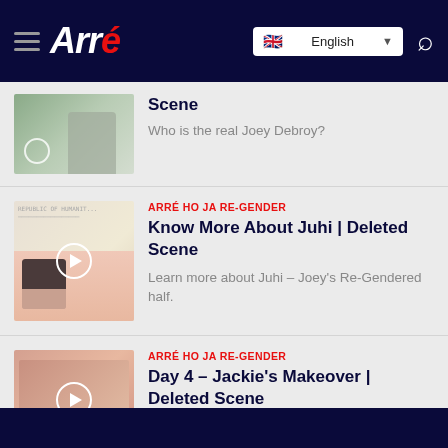Arré — English
Scene
Who is the real Joey Debroy?
ARRÉ HO JA RE-GENDER
Know More About Juhi | Deleted Scene
Learn more about Juhi – Joey's Re-Gendered half.
ARRÉ HO JA RE-GENDER
Day 4 – Jackie's Makeover | Deleted Scene